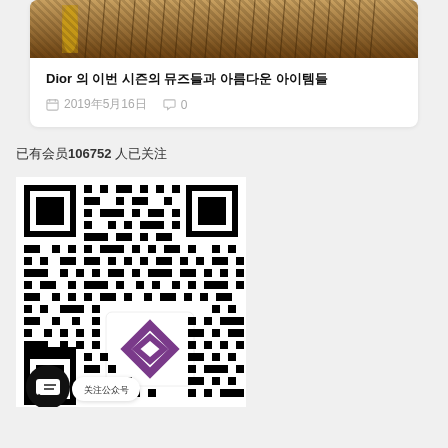[Figure (photo): Partial view of a Dior product with decorative fringe/tassel details in brown/gold tones]
Dior 의 이번 시즌의 뮤즈들과 아름다운 아이템들
2019年5月16日   0
已有会员106752 人已关注
[Figure (other): QR code with a diamond/rhombus logo in the center, and a chat bubble overlay at the bottom left with text '关注公众号']